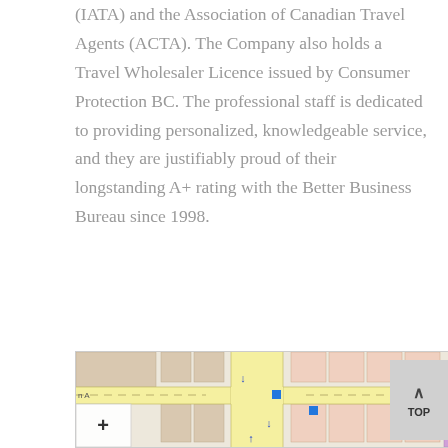(IATA) and the Association of Canadian Travel Agents (ACTA). The Company also holds a Travel Wholesaler Licence issued by Consumer Protection BC. The professional staff is dedicated to providing personalized, knowledgeable service, and they are justifiably proud of their longstanding A+ rating with the Better Business Bureau since 1998.
[Figure (map): Street map showing an intersection with blue markers/pins, yellow-highlighted roads, a zoom-in (+) control, and surrounding building footprints in tan and pink.]